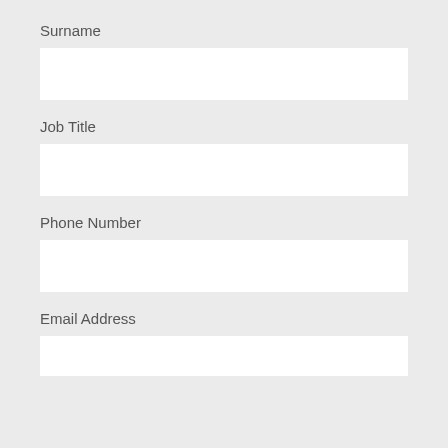Surname
Job Title
Phone Number
Email Address